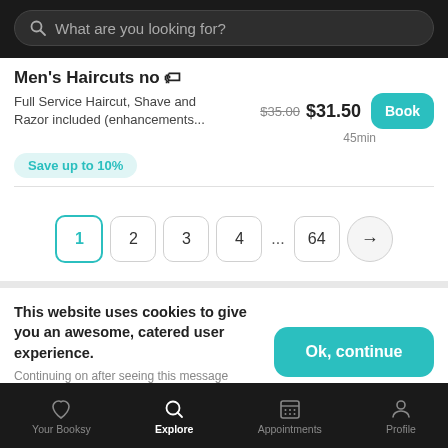What are you looking for?
Men's Haircuts no 🏷
Full Service Haircut, Shave and Razor included (enhancements...
$35.00 $31.50 45min
Save up to 10%
1 2 3 4 ... 64 →
This website uses cookies to give you an awesome, catered user experience. Continuing on after seeing this message means that you're cool with that.
Ok, continue
Your Booksy  Explore  Appointments  Profile